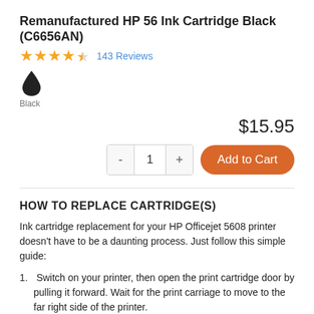Remanufactured HP 56 Ink Cartridge Black (C6656AN)
★★★★½  143 Reviews
[Figure (illustration): Black ink drop icon with label 'Black' below it]
$15.95
[Figure (other): Quantity selector with minus button, value 1, plus button, and orange 'Add to Cart' button]
HOW TO REPLACE CARTRIDGE(S)
Ink cartridge replacement for your HP Officejet 5608 printer doesn't have to be a daunting process. Just follow this simple guide:
1. Switch on your printer, then open the print cartridge door by pulling it forward. Wait for the print carriage to move to the far right side of the printer.